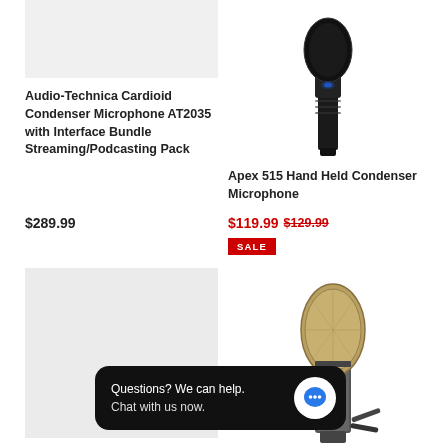[Figure (photo): Gray placeholder box for Audio-Technica product image]
Audio-Technica Cardioid Condenser Microphone AT2035 with Interface Bundle Streaming/Podcasting Pack
$289.99
[Figure (photo): Photo of Apex 515 Hand Held Condenser Microphone, black handheld mic]
Apex 515 Hand Held Condenser Microphone
$119.99 $129.99
SALE
[Figure (photo): Gray placeholder box for second product image]
[Figure (photo): Photo of a large diaphragm condenser microphone with gold mesh grille on a stand]
[Figure (screenshot): Chat widget overlay with text: Questions? We can help. Chat with us now. with a blue chat bubble icon]